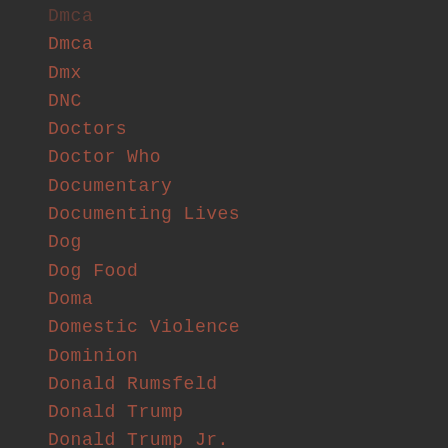Dmca
Dmx
DNC
Doctors
Doctor Who
Documentary
Documenting Lives
Dog
Dog Food
Doma
Domestic Violence
Dominion
Donald Rumsfeld
Donald Trump
Donald Trump Jr.
Don Sterling
Doordash
Dorian Johnson
Dorner
Dos